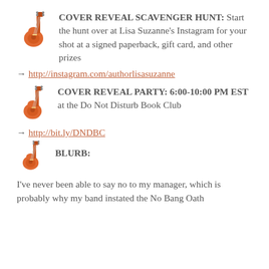🎸 COVER REVEAL SCAVENGER HUNT: Start the hunt over at Lisa Suzanne's Instagram for your shot at a signed paperback, gift card, and other prizes
→ http://instagram.com/authorlisasuzanne
🎸 COVER REVEAL PARTY: 6:00-10:00 PM EST at the Do Not Disturb Book Club
→ http://bit.ly/DNDBC
🎸 BLURB:
I've never been able to say no to my manager, which is probably why my band instated the No Bang Oath